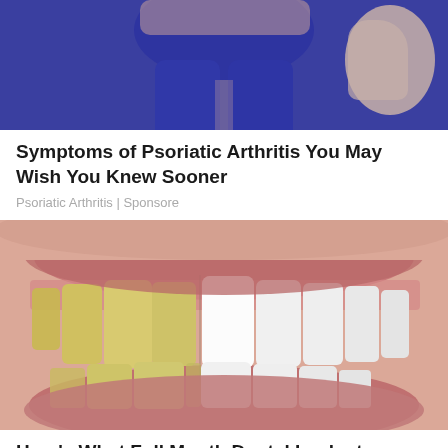[Figure (photo): Cropped image of person wearing blue athletic outfit, showing lower torso and legs, with a hand visible on the right side]
Symptoms of Psoriatic Arthritis You May Wish You Knew Sooner
Psoriatic Arthritis | Sponsore
[Figure (photo): Close-up split comparison photo of a person's smile showing yellowed/discolored teeth on the left half and bright white teeth on the right half, illustrating dental implant or whitening results]
Here's What Full Mouth Dental Implants Should Cost You in 2023